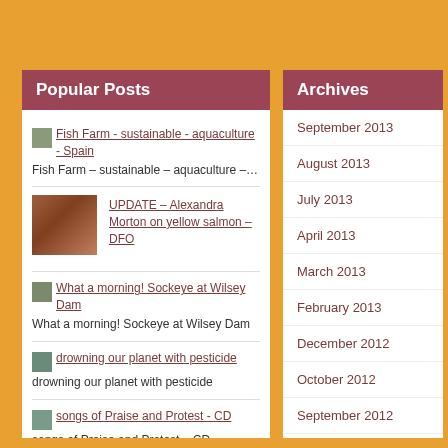Popular Posts
Fish Farm - sustainable - aquaculture - Spain
Fish Farm – sustainable – aquaculture –…
UPDATE – Alexandra Morton on yellow salmon – DFO
What a morning! Sockeye at Wilsey Dam
What a morning! Sockeye at Wilsey Dam
drowning our planet with pesticide
drowning our planet with pesticide
songs of Praise and Protest - CD
songs of Praise and Protest – CD
100,000 voices for Don Staniford's wild salmon campaign!
Archives
September 2013
August 2013
July 2013
April 2013
March 2013
February 2013
December 2012
October 2012
September 2012
August 2012
July 2012
June 2012
May 2012